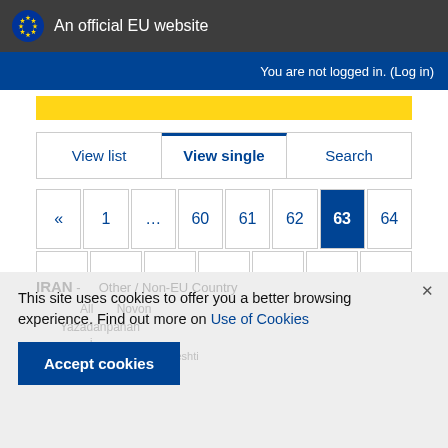An official EU website
You are not logged in. (Log in)
[Figure (screenshot): Tab navigation with three tabs: View list, View single (active), Search]
[Figure (screenshot): Pagination control showing pages: « 1 ... 60 61 62 63(active) 64 65 66 67 68 69 ... 106 »]
IRAN - Other / Non-EU Country
This site uses cookies to offer you a better browsing experience. Find out more on Use of Cookies
Accept cookies